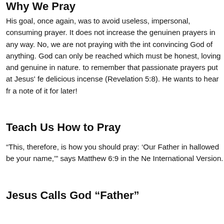Why We Pray
His goal, once again, was to avoid useless, impersonal, consuming prayer. It does not increase the genuineness of prayers in any way. No, we are not praying with the intention of convincing God of anything. God can only be reached through prayer which must be honest, loving and genuine in nature. It is good to remember that passionate prayers put at Jesus' feet are like delicious incense (Revelation 5:8). He wants to hear from us and makes a note of it for later!
Teach Us How to Pray
“This, therefore, is how you should pray: ‘Our Father in heaven, hallowed be your name,’” says Matthew 6:9 in the New International Version.
Jesus Calls God “Father”